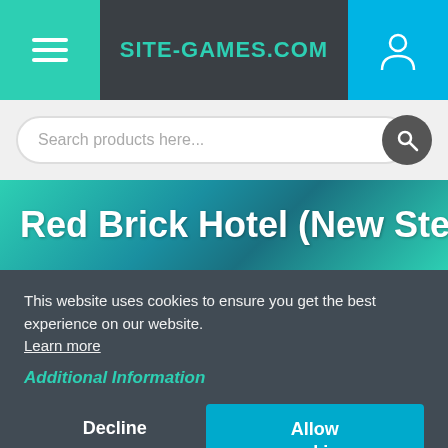SITE-GAMES.COM
Search products here...
Red Brick Hotel (New Steam
This website uses cookies to ensure you get the best experience on our website. Learn more
Decline | Allow cookies
Additional Information
This product is not available. You can be the first to sell it. Site-games.com